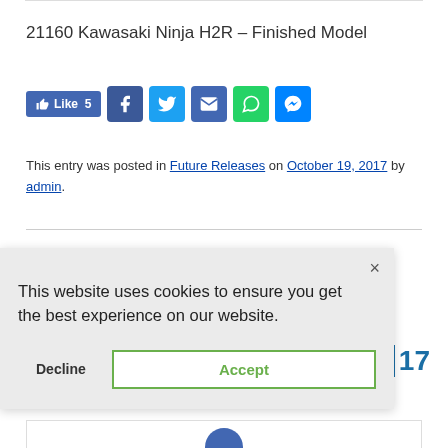21160 Kawasaki Ninja H2R – Finished Model
[Figure (other): Social sharing bar with Facebook Like button (Like 5), Facebook, Twitter, Email, WhatsApp, and Messenger share icons]
This entry was posted in Future Releases on October 19, 2017 by admin.
[Figure (screenshot): Cookie consent banner overlay with text 'This website uses cookies to ensure you get the best experience on our website.' with Decline and Accept buttons and a close (×) button]
17